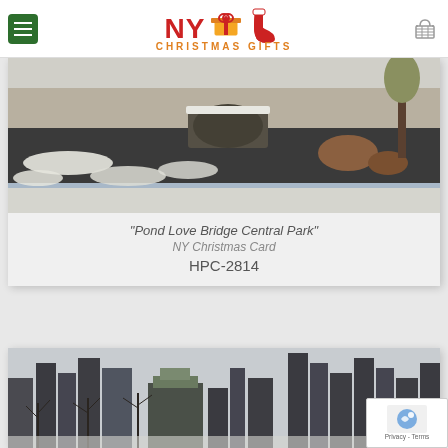NY Christmas Gifts
[Figure (photo): A snowy Central Park pond scene with a bridge and frozen water, Pond Love Bridge Central Park]
"Pond Love Bridge Central Park"
NY Christmas Card
HPC-2814
[Figure (photo): New York City skyline in winter with bare trees in the foreground, snow-covered buildings]